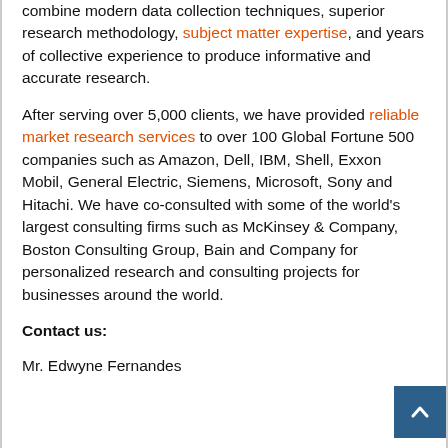examine data at all stages. They are trained to combine modern data collection techniques, superior research methodology, subject matter expertise, and years of collective experience to produce informative and accurate research.
After serving over 5,000 clients, we have provided reliable market research services to over 100 Global Fortune 500 companies such as Amazon, Dell, IBM, Shell, Exxon Mobil, General Electric, Siemens, Microsoft, Sony and Hitachi. We have co-consulted with some of the world's largest consulting firms such as McKinsey & Company, Boston Consulting Group, Bain and Company for personalized research and consulting projects for businesses around the world.
Contact us:
Mr. Edwyne Fernandes